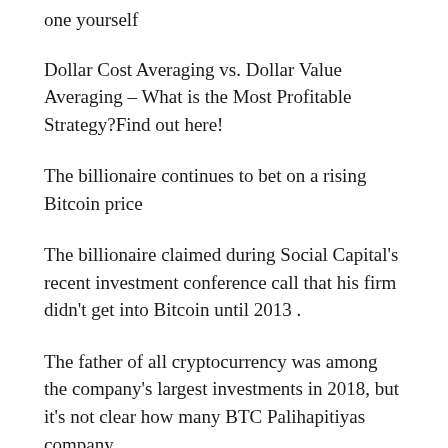one yourself
Dollar Cost Averaging vs. Dollar Value Averaging – What is the Most Profitable Strategy?Find out here!
The billionaire continues to bet on a rising Bitcoin price
The billionaire claimed during Social Capital's recent investment conference call that his firm didn't get into Bitcoin until 2013 .
The father of all cryptocurrency was among the company's largest investments in 2018, but it's not clear how many BTC Palihapitiyas company